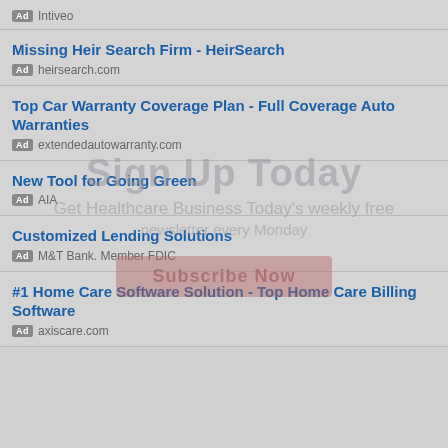Ad Intiveo
Missing Heir Search Firm - HeirSearch
Ad heirsearch.com
Top Car Warranty Coverage Plan - Full Coverage Auto Warranties
Ad extendedautowarranty.com
New Tool for Going Green
Ad AIA
Customized Lending Solutions
Ad M&T Bank. Member FDIC
#1 Home Care Software Solution - Top Home Care Billing Software
Ad axiscare.com